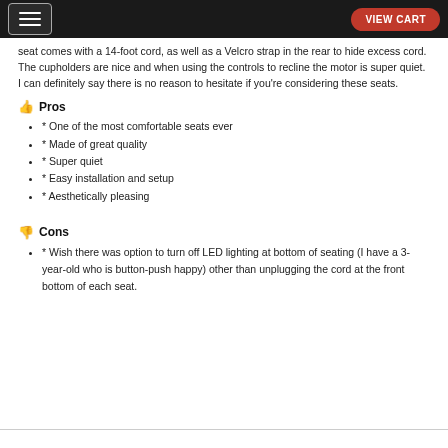VIEW CART
seat comes with a 14-foot cord, as well as a Velcro strap in the rear to hide excess cord. The cupholders are nice and when using the controls to recline the motor is super quiet. I can definitely say there is no reason to hesitate if you're considering these seats.
Pros
* One of the most comfortable seats ever
* Made of great quality
* Super quiet
* Easy installation and setup
* Aesthetically pleasing
Cons
* Wish there was option to turn off LED lighting at bottom of seating (I have a 3-year-old who is button-push happy) other than unplugging the cord at the front bottom of each seat.